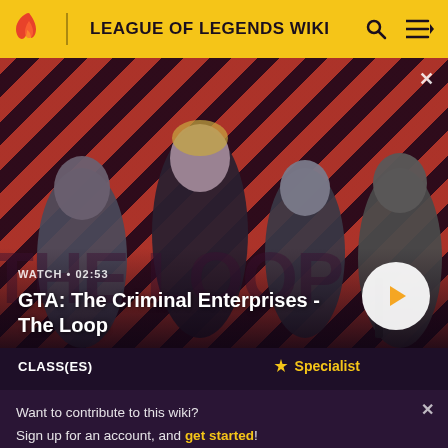LEAGUE OF LEGENDS WIKI
[Figure (screenshot): Video thumbnail for GTA: The Criminal Enterprises - The Loop showing four characters against a red diagonal stripe background. Labels: WATCH • 02:53, title GTA: The Criminal Enterprises - The Loop, circular play button.]
CLASS(ES)   ✿ Specialist
Want to contribute to this wiki? Sign up for an account, and get started! You can even turn off ads in your preferences.